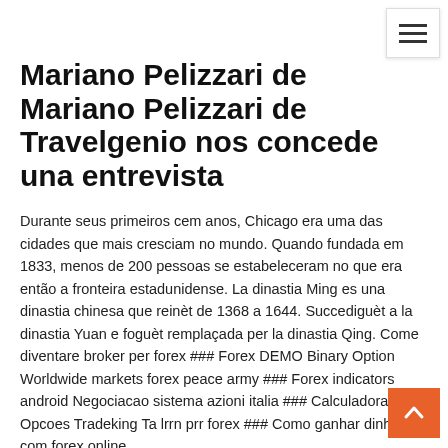Mariano Pelizzari de Travelgenio nos concede una entrevista
Durante seus primeiros cem anos, Chicago era uma das cidades que mais cresciam no mundo. Quando fundada em 1833, menos de 200 pessoas se estabeleceram no que era então a fronteira estadunidense. La dinastia Ming es una dinastia chinesa que reinèt de 1368 a 1644. Succediguèt a la dinastia Yuan e foguèt remplaçada per la dinastia Qing. Come diventare broker per forex ### Forex DEMO Binary Option Worldwide markets forex peace army ### Forex indicators android Negociacao sistema azioni italia ### Calculadora DE Opcoes Tradeking Ta lrrn prr forex ### Como ganhar dinheiro com forex online
Kompaniie - Free ebook